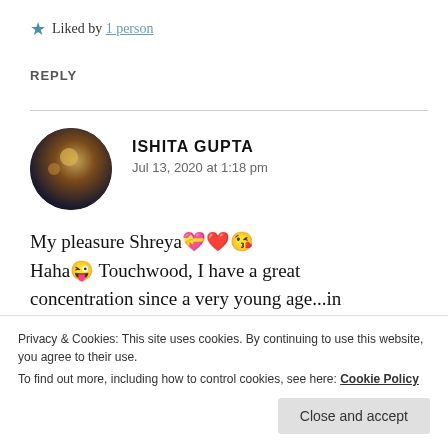★ Liked by 1 person
REPLY
[Figure (photo): Circular avatar photo of Ishita Gupta showing a dark bokeh background with warm golden light spots]
ISHITA GUPTA
Jul 13, 2020 at 1:18 pm
My pleasure Shreya💝❤️😘
Haha😜 Touchwood, I have a great concentration since a very young age...in
Privacy & Cookies: This site uses cookies. By continuing to use this website, you agree to their use.
To find out more, including how to control cookies, see here: Cookie Policy
Close and accept